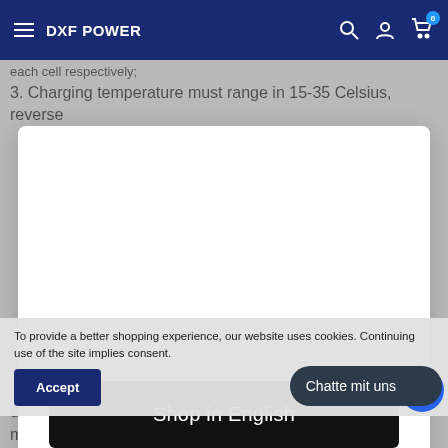DXF POWER
each cell respectively;
3. Charging temperature must range in 15-35 Celsius, reverse
[Figure (screenshot): Modal dialog with 'Shop in English' black button on white background]
To provide a better shopping experience, our website uses cookies. Continuing use of the site implies consent.
Accept
Chatte mit uns
down to ambient temperature naturally. Higher temperature may